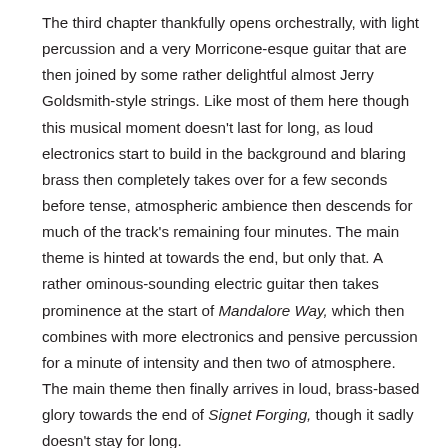The third chapter thankfully opens orchestrally, with light percussion and a very Morricone-esque guitar that are then joined by some rather delightful almost Jerry Goldsmith-style strings. Like most of them here though this musical moment doesn't last for long, as loud electronics start to build in the background and blaring brass then completely takes over for a few seconds before tense, atmospheric ambience then descends for much of the track's remaining four minutes. The main theme is hinted at towards the end, but only that. A rather ominous-sounding electric guitar then takes prominence at the start of Mandalore Way, which then combines with more electronics and pensive percussion for a minute of intensity and then two of atmosphere. The main theme then finally arrives in loud, brass-based glory towards the end of Signet Forging, though it sadly doesn't stay for long.